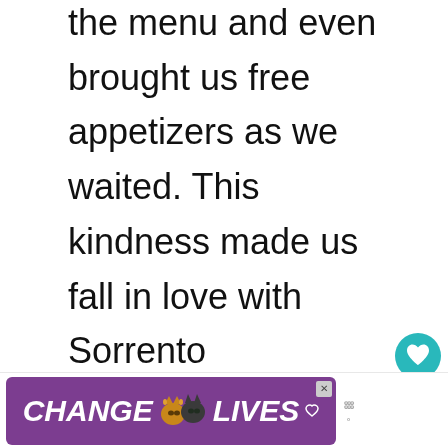the menu and even brought us free appetizers as we waited. This kindness made us fall in love with Sorrento immediately. We found out the next day that they weren't supposed to open until 7pm! Talk about stellar service.
[Figure (screenshot): Heart/like button (teal circle with heart icon), like count 3.1K, and share button (grey circle with share icon) — social media UI elements on the right side]
[Figure (screenshot): What's Next panel with a round thumbnail image of a dark scenic photo, label 'WHAT'S NEXT →' in teal, and text '25 Unique & Fun Things t...']
[Figure (screenshot): Advertisement banner with purple background showing 'CHANGE [cat images] LIVES' text in white italic bold font, with a close X button and a logo area to the right]